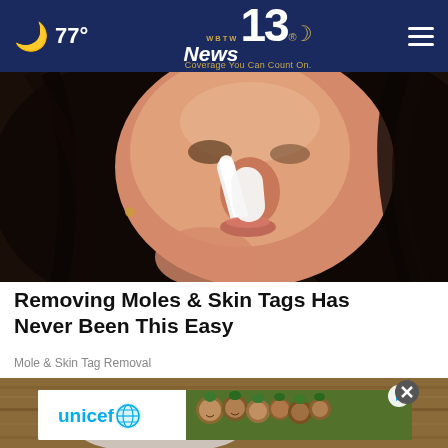77° WBTW News 13 Coverage You Can Count On.
[Figure (photo): Close-up of a woman applying something white to the nose area of her face with an applicator tool, long dark hair, neutral expression]
Removing Moles & Skin Tags Has Never Been This Easy
Mole & Skin Tag Removal
[Figure (photo): Partial second article image showing a wood surface background, overlaid with a UNICEF advertisement banner featuring the UNICEF logo and children in green hats, with a close (X) button and play button overlay]